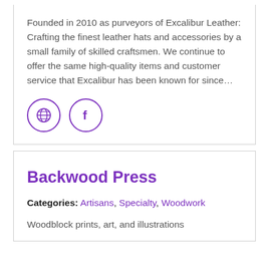Founded in 2010 as purveyors of Excalibur Leather: Crafting the finest leather hats and accessories by a small family of skilled craftsmen. We continue to offer the same high-quality items and customer service that Excalibur has been known for since…
[Figure (illustration): Two circular icon buttons with purple outlines: a globe/world icon and a Facebook 'f' icon.]
Backwood Press
Categories: Artisans, Specialty, Woodwork
Woodblock prints, art, and illustrations